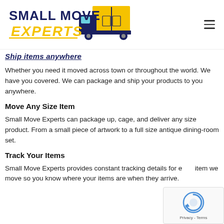[Figure (logo): Small Move Experts logo with truck illustration — dark navy text 'SMALL MOVE' above italic gold 'EXPERTS' text, with yellow and navy moving truck graphic on the right]
Ship items anywhere
Whether you need it moved across town or throughout the world. We have you covered. We can package and ship your products to you anywhere.
Move Any Size Item
Small Move Experts can package up, cage, and deliver any size product. From a small piece of artwork to a full size antique dining-room set.
Track Your Items
Small Move Experts provides constant tracking details for each item we move so you know where your items are when they arrive.